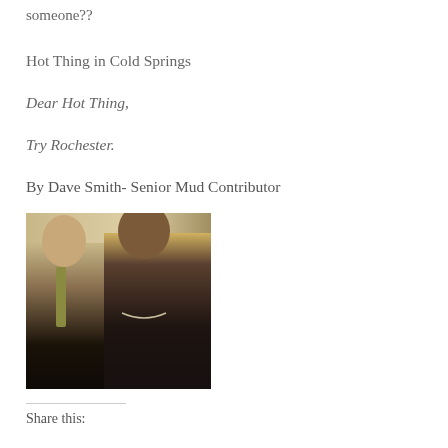someone??
Hot Thing in Cold Springs
Dear Hot Thing,
Try Rochester.
By Dave Smith- Senior Mud Contributor
[Figure (photo): Two men standing side by side indoors. The man on the left wears a dark suit with an olive/striped tie. The man on the right wears a dark jacket/hoodie and a necklace.]
Share this: